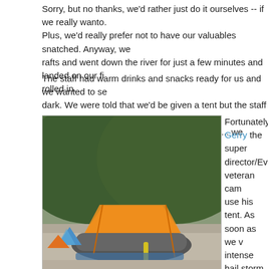Sorry, but no thanks, we'd rather just do it ourselves -- if we really wanto. Plus, we'd really prefer not to have our valuables snatched. Anyway, we rafts and went down the river for just a few minutes and landed on our fi rolled in.
The staff had warm drinks and snacks ready for us and we wanted to se dark. We were told that we'd be given a tent but the staff had "forgotten for 7 days and a crazy storm was about to hit... we weren't too happy ab
[Figure (photo): Photo of orange and blue tents set up on a riverbank with a steep forested hillside in the background. An orange tarp is propped up over an inflatable raft using paddles.]
Fortunately, Gerry the super director/Everest veteran cam use his tent. As soon as we v intense hail storm hit and we had propped up with paddle managed to tie to another se stop so we stayed there to e played our first round of one entertaining card games eve an exclusive post on this gar
The rest of the trip was smoo we'd paddle for 4 to 6 hours beaches, making camping lo headed to bed early after the woke up for the sunrise. The